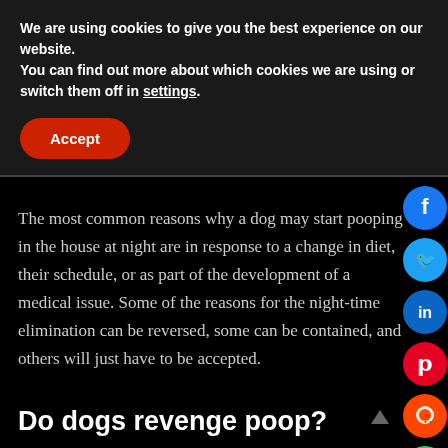We are using cookies to give you the best experience on our website.
You can find out more about which cookies we are using or switch them off in settings.
Accept
The most common reasons why a dog may start pooping in the house at night are in response to a change in diet, their schedule, or as part of the development of a medical issue. Some of the reasons for the night-time elimination can be reversed, some can be contained, and others will just have to be accepted.
Do dogs revenge poop?